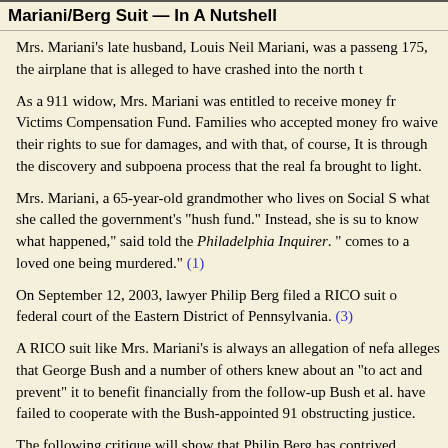Mariani/Berg Suit — In A Nutshell
Mrs. Mariani's late husband, Louis Neil Mariani, was a passenger on United Airlines flight 175, the airplane that is alleged to have crashed into the north tower.
As a 911 widow, Mrs. Mariani was entitled to receive money from the September 11th Victims Compensation Fund. Families who accepted money from that fund were required to waive their rights to sue for damages, and with that, of course, the truth. It is through the discovery and subpoena process that the real facts of what happened can be brought to light.
Mrs. Mariani, a 65-year-old grandmother who lives on Social Security, declined what she called the government's "hush fund." Instead, she is suing because she "needs to know what happened," said told the Philadelphia Inquirer. "I refuse to accept money when it comes to a loved one being murdered." (1)
On September 12, 2003, lawyer Philip Berg filed a RICO suit on her behalf in the federal court of the Eastern District of Pennsylvania. (3)
A RICO suit like Mrs. Mariani's is always an allegation of nefarious conspiracy. It alleges that George Bush and a number of others knew about and deliberately failed "to act and prevent" it to benefit financially from the follow-up wars, and that Bush et al. have failed to cooperate with the Bush-appointed 911 Commission, obstructing justice.
The following critique will show that Philip Berg has contrived a complaint that flagrantly betrays Mrs. Mariani's stated goals. Berg's Complaint appears to serve ulterior purposes.